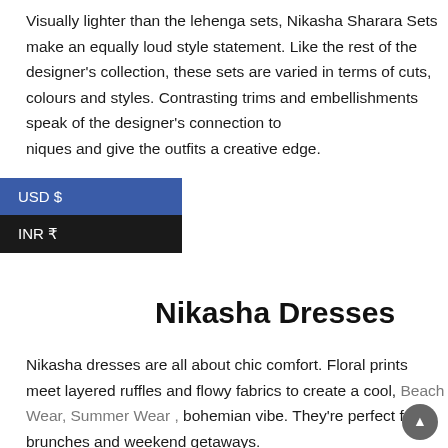Visually lighter than the lehenga sets, Nikasha Sharara Sets make an equally loud style statement. Like the rest of the designer's collection, these sets are varied in terms of cuts, colours and styles. Contrasting trims and embellishments speak of the designer's connection to techniques and give the outfits a creative edge.
USD $
INR ₹
Nikasha Dresses
Nikasha dresses are all about chic comfort. Floral prints meet layered ruffles and flowy fabrics to create a cool, Beach Wear, Summer Wear , bohemian vibe. They're perfect for brunches and weekend getaways.
Shop Nikasha Indo Western Sets
Nikasha Indo Western Sets blur the line between traditional and modern fashion by taking inspiration from both ends of the spectrum. This is where the designer's spirit of experimentation comes to the forefront. If you like eclectic couture,Casual Summer